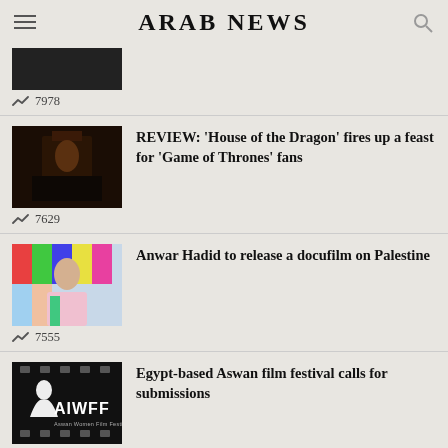ARAB NEWS
7978
REVIEW: ‘House of the Dragon’ fires up a feast for ‘Game of Thrones’ fans
7629
Anwar Hadid to release a docufilm on Palestine
7555
Egypt-based Aswan film festival calls for submissions
7473